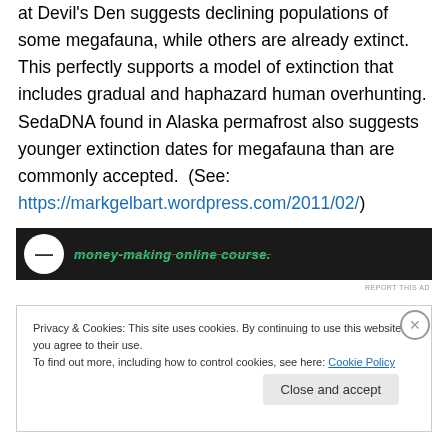at Devil's Den suggests declining populations of some megafauna, while others are already extinct. This perfectly supports a model of extinction that includes gradual and haphazard human overhunting. SedaDNA found in Alaska permafrost also suggests younger extinction dates for megafauna than are commonly accepted. (See: https://markgelbart.wordpress.com/2011/02/)
[Figure (other): Dark advertisement banner with green italic strikethrough text reading 'money-making online course.' and a white circular icon on the left]
REPORT THIS AD
Privacy & Cookies: This site uses cookies. By continuing to use this website, you agree to their use.
To find out more, including how to control cookies, see here: Cookie Policy
Close and accept